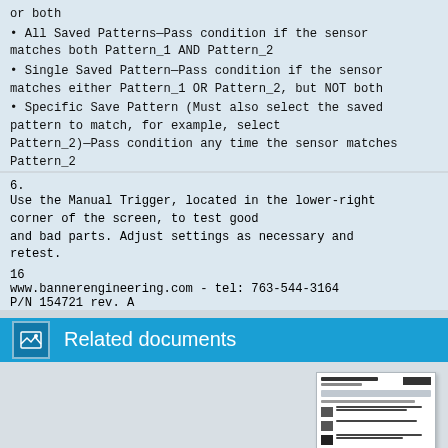or both
• All Saved Patterns—Pass condition if the sensor matches both Pattern_1 AND Pattern_2
• Single Saved Pattern—Pass condition if the sensor matches either Pattern_1 OR Pattern_2, but NOT both
• Specific Save Pattern (Must also select the saved pattern to match, for example, select Pattern_2)—Pass condition any time the sensor matches Pattern_2
6.
Use the Manual Trigger, located in the lower-right corner of the screen, to test good and bad parts. Adjust settings as necessary and retest.
16
www.bannerengineering.com - tel: 763-544-3164
P/N 154721 rev. A
Related documents
[Figure (screenshot): Thumbnail preview of a related document page from Banner Engineering showing sensor setup screens and warning sections]